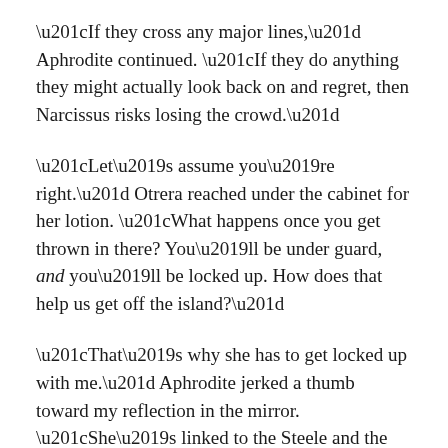“If they cross any major lines,” Aphrodite continued. “If they do anything they might actually look back on and regret, then Narcissus risks losing the crowd.”
“Let’s assume you’re right.” Otrera reached under the cabinet for her lotion. “What happens once you get thrown in there? You’ll be under guard, and you’ll be locked up. How does that help us get off the island?”
“That’s why she has to get locked up with me.” Aphrodite jerked a thumb toward my reflection in the mirror. “She’s linked to the Steele and the poisons. I can talk her through ‘porting them away once we’re behind the shield.”
I nodded, like my input held any weight with either of